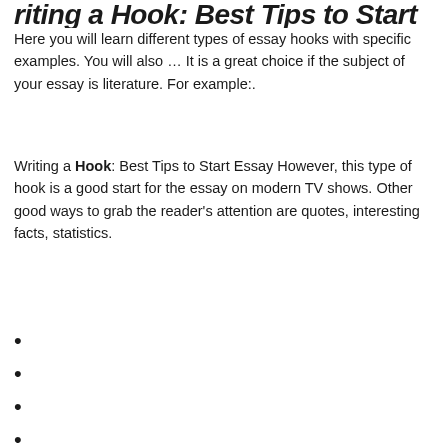Writing a Hook: Best Tips to Start Essay
Here you will learn different types of essay hooks with specific examples. You will also … It is a great choice if the subject of your essay is literature. For example:.
Writing a Hook: Best Tips to Start Essay However, this type of hook is a good start for the essay on modern TV shows. Other good ways to grab the reader's attention are quotes, interesting facts, statistics.